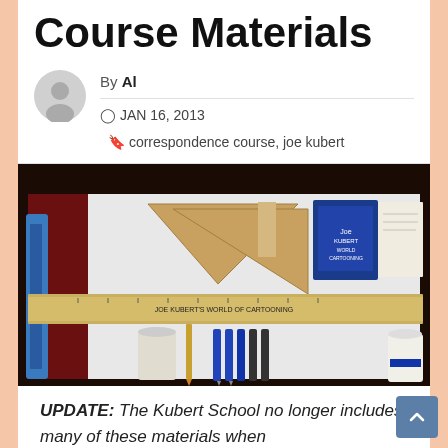Course Materials
By Al
© JAN 16, 2013  🏷 correspondence course, joe kubert
[Figure (photo): A flat-lay photograph of Joe Kubert correspondence course materials including a ruler labeled 'JOE KUBERT'S WORLD OF CARTOONING', drawing tools, blue pens/pencils, triangles, and other art supplies in a white box.]
UPDATE: The Kubert School no longer includes many of these materials when